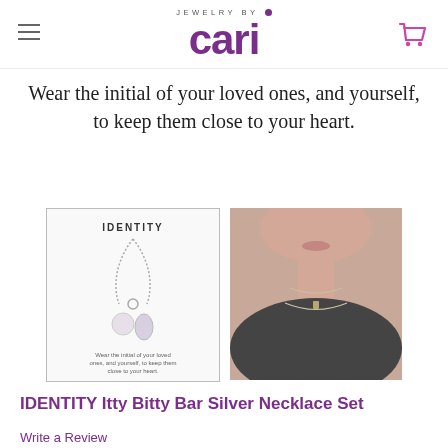JEWELRY BY cari
Wear the initial of your loved ones, and yourself, to keep them close to your heart.
[Figure (photo): Two product images side by side: left image shows IDENTITY necklace set with pearl and teardrop pendants on ball chain with text overlay; right image shows model wearing layered necklaces]
IDENTITY Itty Bitty Bar Silver Necklace Set
Write a Review
GIFT WRAPPING: Options available
$95.00